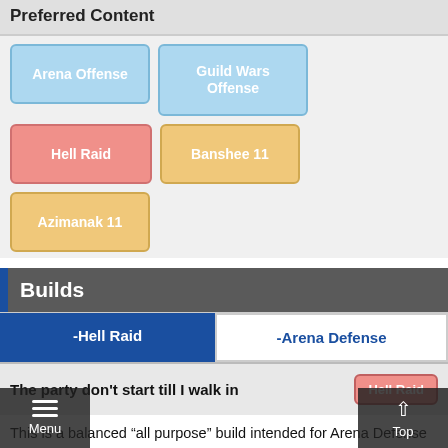Preferred Content
Arena Offense
Guild Wars Offense
Hell Raid
Banshee 11
Azimanak 11
Builds
-Hell Raid
-Arena Defense
The party don't start till I walk in
This is a balanced “all purpose” build intended for Arena Defense and Raves— I mean, Raid. Investing fully into Speed lets him act as an opener with Immunity, and fast turn cycling helps with frequent S3 heals. With at least one Attack accessory (to increase heal scaling) it becomes a squishy build